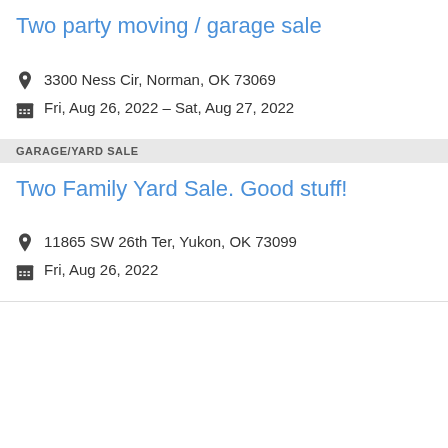Two party moving / garage sale
3300 Ness Cir, Norman, OK 73069
Fri, Aug 26, 2022 – Sat, Aug 27, 2022
GARAGE/YARD SALE
Two Family Yard Sale. Good stuff!
11865 SW 26th Ter, Yukon, OK 73099
Fri, Aug 26, 2022